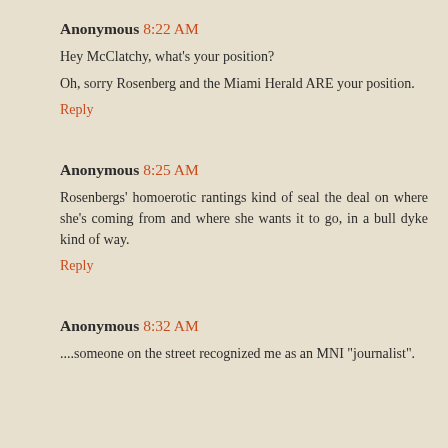Anonymous 8:22 AM
Hey McClatchy, what's your position?
Oh, sorry Rosenberg and the Miami Herald ARE your position.
Reply
Anonymous 8:25 AM
Rosenbergs' homoerotic rantings kind of seal the deal on where she's coming from and where she wants it to go, in a bull dyke kind of way.
Reply
Anonymous 8:32 AM
....someone on the street recognized me as an MNI "journalist".